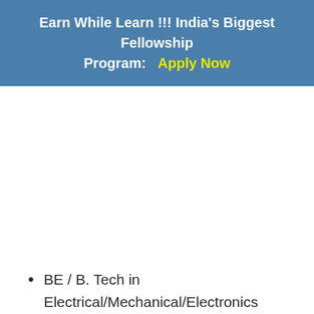Earn While Learn !!! India's Biggest Fellowship Program:   Apply Now
BE / B. Tech in Electrical/Mechanical/Electronics & Communication/ Telecommunication with 60%